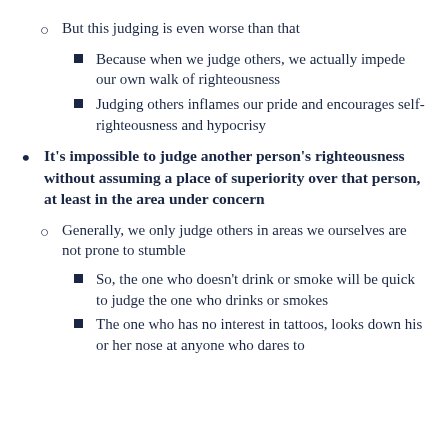But this judging is even worse than that
Because when we judge others, we actually impede our own walk of righteousness
Judging others inflames our pride and encourages self-righteousness and hypocrisy
It’s impossible to judge another person’s righteousness without assuming a place of superiority over that person, at least in the area under concern
Generally, we only judge others in areas we ourselves are not prone to stumble
So, the one who doesn’t drink or smoke will be quick to judge the one who drinks or smokes
The one who has no interest in tattoos, looks down his or her nose at anyone who dares to